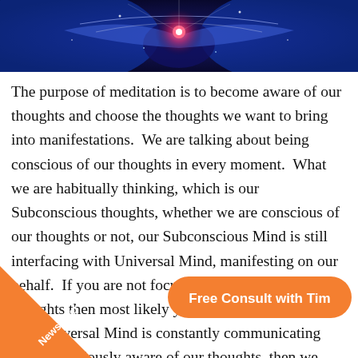[Figure (illustration): A blue cosmic/mystical image showing a figure with wings of light and a central glowing red/pink light, against a deep blue background with sparkles and rays of light.]
The purpose of meditation is to become aware of our thoughts and choose the thoughts we want to bring into manifestations.  We are talking about being conscious of our thoughts in every moment.  What we are habitually thinking, which is our Subconscious thoughts, whether we are conscious of our thoughts or not, our Subconscious Mind is still interfacing with Universal Mind, manifesting on our behalf.  If you are not focus and aware of your thoughts then most likely your life may not be focus.  The Universal Mind is constantly communicating with us... ciously aware of our thoughts, then we
[Figure (illustration): Orange diagonal ribbon/banner in the bottom-left corner with the text 'Newsletter' written diagonally in white.]
[Figure (illustration): Orange rounded rectangle button in the bottom-right area with bold white text reading 'Free Consult with Tim'.]